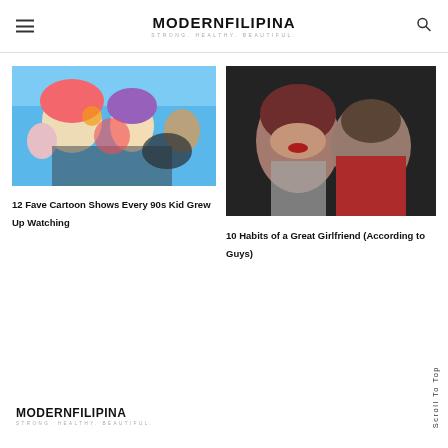MODERNFILIPINA STRONG. HEALTHY. BEAUTIFUL.
[Figure (photo): Cartoon characters from 90s animated shows on a colorful background]
12 Fave Cartoon Shows Every 90s Kid Grew Up Watching
[Figure (photo): A man and woman posing together, woman has red hair and red lipstick, man wearing red jacket]
10 Habits of a Great Girlfriend (According to Guys)
MODERNFILIPINA STRONG. HEALTHY. BEAUTIFUL.
Scroll To Top